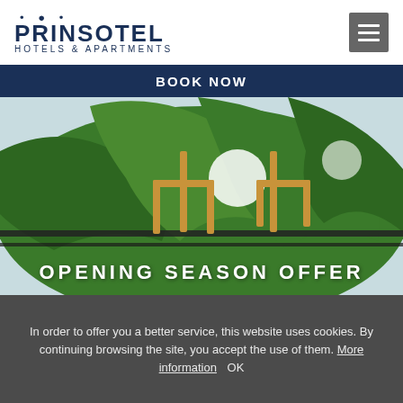[Figure (logo): Prinsotel Hotels & Apartments logo with crown icon above the P]
BOOK NOW
[Figure (photo): Close-up photo of tropical palm fronds with golden metal railing/lamp fixture in the foreground, blurred background]
OPENING SEASON OFFER
In order to offer you a better service, this website uses cookies. By continuing browsing the site, you accept the use of them. More information   OK